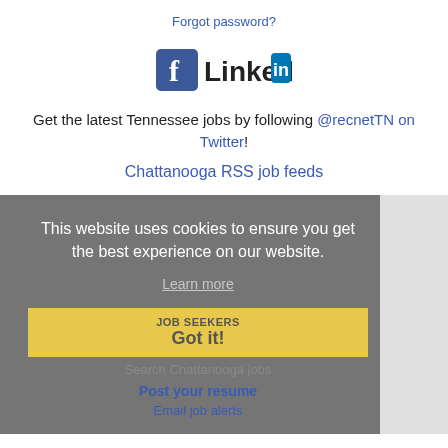Forgot password?
[Figure (logo): Facebook and LinkedIn social media logos side by side]
Get the latest Tennessee jobs by following @recnetTN on Twitter!
Chattanooga RSS job feeds
This website uses cookies to ensure you get the best experience on our website.
Learn more
JOB SEEKERS Got it! Search Chattanooga jobs
Post your resume
Email job alerts